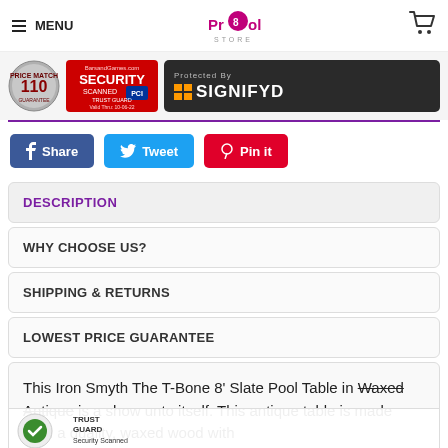MENU | Pro Pool Store | Cart
[Figure (logo): Trust badges: 110% price match guarantee seal, BarsandGames.com Security Scanned Trust Guard PCI badge valid 10-06-22, and Protected By SIGNIFYD badge]
Share  Tweet  Pin it
DESCRIPTION
WHY CHOOSE US?
SHIPPING & RETURNS
LOWEST PRICE GUARANTEE
This Iron Smyth The T-Bone 8' Slate Pool Table in Waxed Antique is a show unto itself. This antique table is made from a quality, waxed wood with